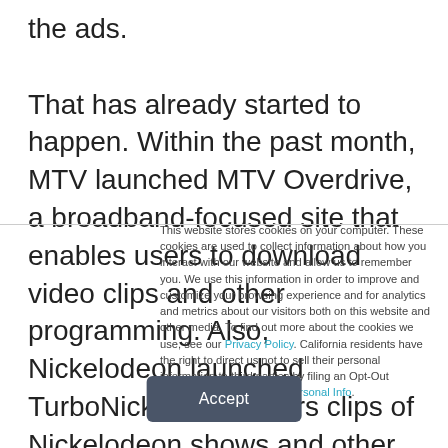the ads. That has already started to happen. Within the past month, MTV launched MTV Overdrive, a broadband-focused site that enables users to download video clips and other programming. Also, Nickelodeon launched TurboNick, which offers clips of Nickelodeon shows and other content.
This website stores cookies on your computer. These cookies are used to collect information about how you interact with our website and allow us to remember you. We use this information in order to improve and customize your browsing experience and for analytics and metrics about our visitors both on this website and other media. To find out more about the cookies we use, see our Privacy Policy. California residents have the right to direct us not to sell their personal information to third parties by filing an Opt-Out Request: Do Not Sell My Personal Info.
Accept